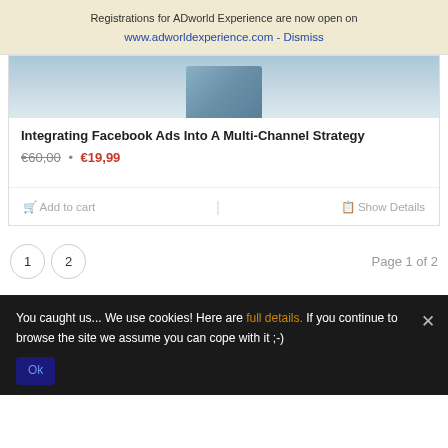Registrations for ADworld Experience are now open on www.adworldexperience.com - Dismiss
[Figure (photo): Partial product image showing top portion of a course or book cover]
Integrating Facebook Ads Into A Multi-Channel Strategy
€60,00 • €19,99
Add to cart  |  Show Details
1  2  Page 1 of 2
You caught us... We use cookies! Here are full details. If you continue to browse the site we assume you can cope with it ;-)
Ok